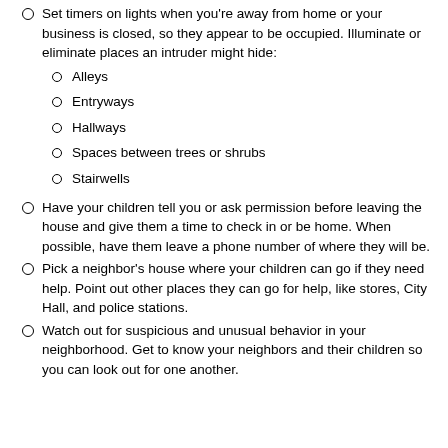Set timers on lights when you're away from home or your business is closed, so they appear to be occupied. Illuminate or eliminate places an intruder might hide:
Alleys
Entryways
Hallways
Spaces between trees or shrubs
Stairwells
Have your children tell you or ask permission before leaving the house and give them a time to check in or be home. When possible, have them leave a phone number of where they will be.
Pick a neighbor's house where your children can go if they need help. Point out other places they can go for help, like stores, City Hall, and police stations.
Watch out for suspicious and unusual behavior in your neighborhood. Get to know your neighbors and their children so you can look out for one another.